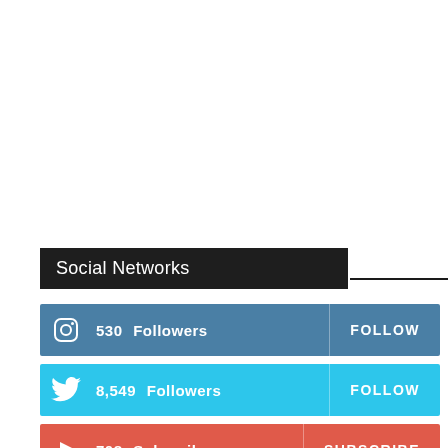Social Networks
530  Followers   FOLLOW
8,549  Followers   FOLLOW
708  Subscribers   SUBSCRIBE